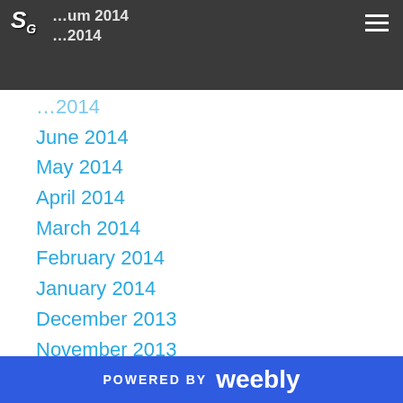SG [logo] — site header with hamburger menu
June 2014
May 2014
April 2014
March 2014
February 2014
January 2014
December 2013
November 2013
October 2013
September 2013
August 2013
July 2013
June 2013
May 2013
April 2013
POWERED BY weebly